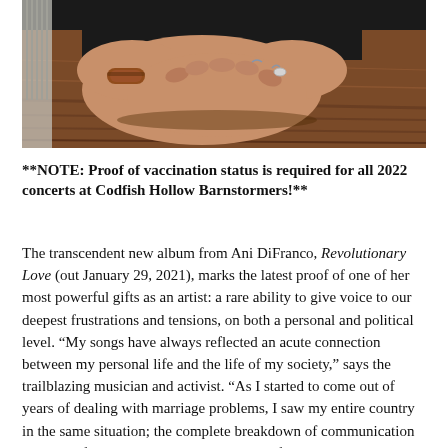[Figure (photo): Close-up photo of a person's hands clasped together resting on a wooden table, wearing bracelets and a ring, with tattoos visible on fingers.]
**NOTE: Proof of vaccination status is required for all 2022 concerts at Codfish Hollow Barnstormers!**
The transcendent new album from Ani DiFranco, Revolutionary Love (out January 29, 2021), marks the latest proof of one of her most powerful gifts as an artist: a rare ability to give voice to our deepest frustrations and tensions, on both a personal and political level. “My songs have always reflected an acute connection between my personal life and the life of my society,” says the trailblazing musician and activist. “As I started to come out of years of dealing with marriage problems, I saw my entire country in the same situation; the complete breakdown of communication and loss of empathy and connection. But after what seems like unforgivable damage, then where do you go? You can’t kick each other off the